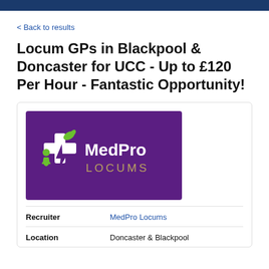< Back to results
Locum GPs in Blackpool & Doncaster for UCC - Up to £120 Per Hour - Fantastic Opportunity!
[Figure (logo): MedPro Locums logo: purple background with a white cross/plus medical icon with green leaf accents and a green circular figure, next to the text MedPro LOCUMS in white and olive/gold.]
| Recruiter | MedPro Locums |
| Location | Doncaster & Blackpool |